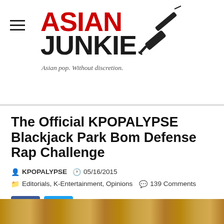ASIAN JUNKIE — Asian pop. Without discretion.
The Official KPOPALYPSE Blackjack Park Bom Defense Rap Challenge
KPOPALYPSE  05/16/2015  Editorials, K-Entertainment, Opinions  139 Comments
[Figure (logo): Asian Junkie logo with red ASIAN text and dark JUNKIE text, syringe needle graphic, tagline: Asian pop. Without discretion.]
[Figure (photo): Partial photo visible at bottom of page]